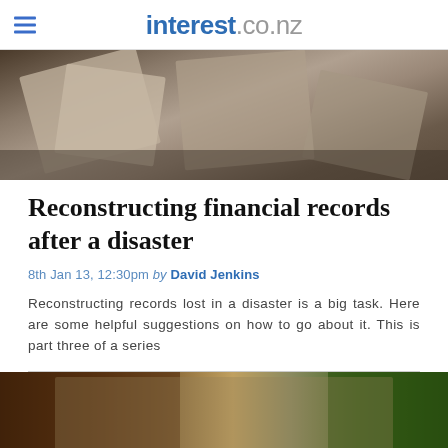interest.co.nz
[Figure (photo): Torn or damaged paper/documents, close-up view, disaster-related imagery]
Reconstructing financial records after a disaster
8th Jan 13, 12:30pm by David Jenkins
Reconstructing records lost in a disaster is a big task. Here are some helpful suggestions on how to go about it. This is part three of a series
[Figure (photo): Man standing in a wine shop with shelves of wine bottles, green shelving visible on the right]